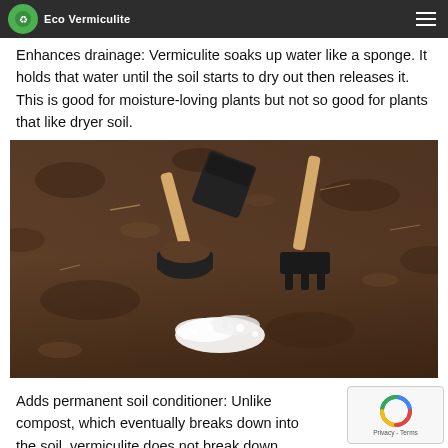Eco Vermiculite
Enhances drainage: Vermiculite soaks up water like a sponge. It holds that water until the soil starts to dry out then releases it. This is good for moisture-loving plants but not so good for plants that like dryer soil.
[Figure (photo): Close-up photo of dark garden soil with two small black scoops/tools with wooden handles resting on the soil, and a small pile of white vermiculite granules visible in the foreground.]
Adds permanent soil conditioner: Unlike compost, which eventually breaks down into the soil, vermiculite does not break down. Compost does add vital nutrients, but if you need to permanently improve drainage, vermiculite is a